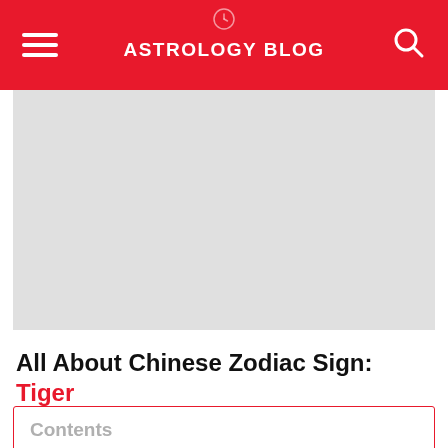ASTROLOGY BLOG
[Figure (photo): Large placeholder image with light gray background]
All About Chinese Zodiac Sign: Tiger
Contents